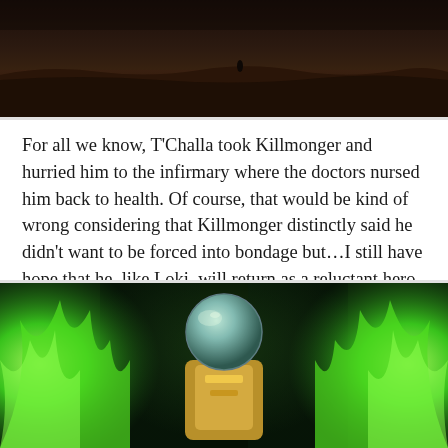[Figure (photo): Dark cinematic scene showing a distant figure on a barren landscape under a dark sky]
For all we know, T'Challa took Killmonger and hurried him to the infirmary where the doctors nursed him back to health. Of course, that would be kind of wrong considering that Killmonger distinctly said he didn't want to be forced into bondage but…I still have hope that he, like Loki, will return as a reluctant hero in the Black Panther sequel.
[Figure (photo): A figure wearing a reflective helmet and gold armor surrounded by bright green magical energy or flames, from what appears to be a Marvel movie or animated feature]